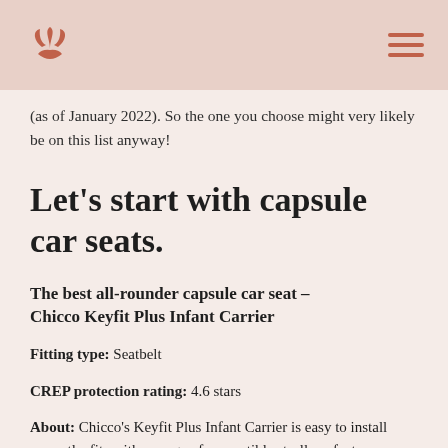[Logo] [Hamburger menu]
(as of January 2022). So the one you choose might very likely be on this list anyway!
Let's start with capsule car seats.
The best all-rounder capsule car seat – Chicco Keyfit Plus Infant Carrier
Fitting type: Seatbelt
CREP protection rating: 4.6 stars
About: Chicco's Keyfit Plus Infant Carrier is easy to install correctly, fits with a range of compatible strollers, features impact-absorbing foam and a